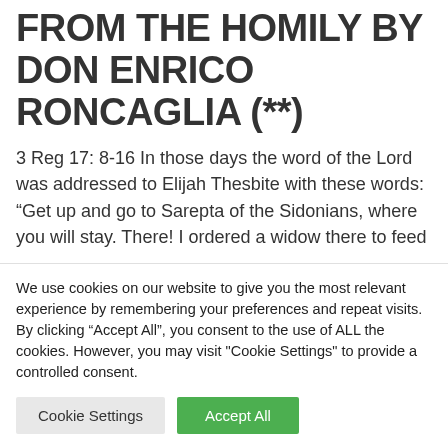FROM THE HOMILY BY DON ENRICO RONCAGLIA (**)
3 Reg 17: 8-16 In those days the word of the Lord was addressed to Elijah Thesbite with these words: “Get up and go to Sarepta of the Sidonians, where you will stay. There! I ordered a widow there to feed you.’ She went and did as Elijah told her, and ate him, her, and her son. And from that day the flour jar never remained empty, the jar of oil never dropped, according to
We use cookies on our website to give you the most relevant experience by remembering your preferences and repeat visits. By clicking “Accept All”, you consent to the use of ALL the cookies. However, you may visit "Cookie Settings" to provide a controlled consent.